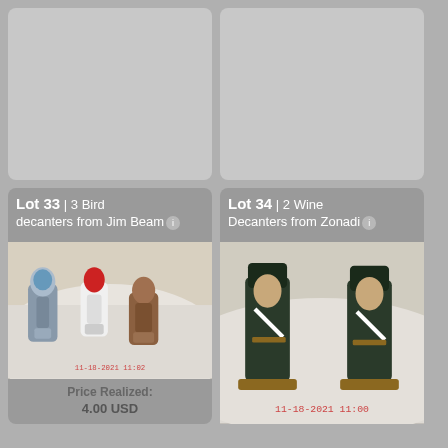[Figure (photo): Empty card placeholder top left]
[Figure (photo): Empty card placeholder top right]
Lot 33 | 3 Bird decanters from Jim Beam
[Figure (photo): Photo of 3 bird-shaped Jim Beam decanters on a white draped background, timestamp 11-18-2021 11:02]
Price Realized: 4.00 USD
Lot 34 | 2 Wine Decanters from Zonadi
[Figure (photo): Photo of 2 soldier/military figurine wine decanters on a white draped background, timestamp 11-18-2021 11:00]